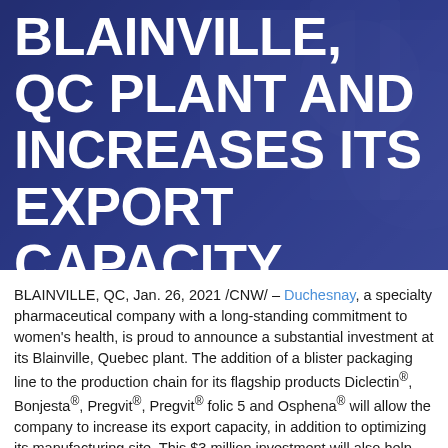BLAINVILLE, QC PLANT AND INCREASES ITS EXPORT CAPACITY
BLAINVILLE, QC, Jan. 26, 2021 /CNW/ – Duchesnay, a specialty pharmaceutical company with a long-standing commitment to women's health, is proud to announce a substantial investment at its Blainville, Quebec plant. The addition of a blister packaging line to the production chain for its flagship products Diclectin®, Bonjesta®, Pregvit®, Pregvit® folic 5 and Osphena® will allow the company to increase its export capacity, in addition to optimizing its manufacturing site. This $3 million investment will also help provide